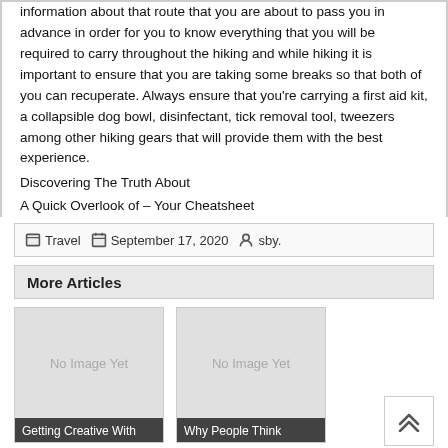information about that route that you are about to pass you in advance in order for you to know everything that you will be required to carry throughout the hiking and while hiking it is important to ensure that you are taking some breaks so that both of you can recuperate. Always ensure that you're carrying a first aid kit, a collapsible dog bowl, disinfectant, tick removal tool, tweezers among other hiking gears that will provide them with the best experience.
Discovering The Truth About
A Quick Overlook of – Your Cheatsheet
Travel  September 17, 2020  sby.
More Articles
[Figure (other): No Image Yet placeholder card with title 'Getting Creative With']
[Figure (other): No Image Yet placeholder card with title 'Why People Think']